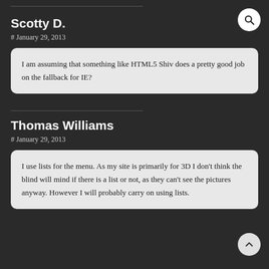Scotty D.
# January 29, 2013
I am assuming that something like HTML5 Shiv does a pretty good job on the fallback for IE?
Thomas Williams
# January 29, 2013
I use lists for the menu. As my site is primarily for 3D I don't think the blind will mind if there is a list or not, as they can't see the pictures anyway. However I will probably carry on using lists.